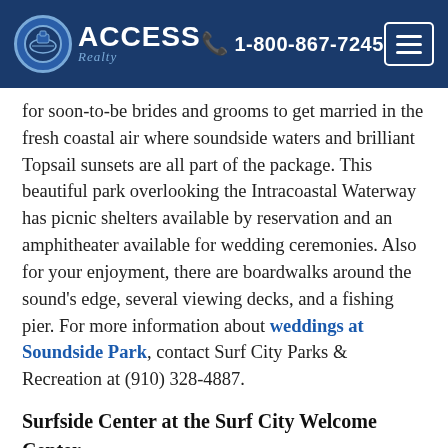ACCESS Realty | 1-800-867-7245
for soon-to-be brides and grooms to get married in the fresh coastal air where soundside waters and brilliant Topsail sunsets are all part of the package. This beautiful park overlooking the Intracoastal Waterway has picnic shelters available by reservation and an amphitheater available for wedding ceremonies. Also for your enjoyment, there are boardwalks around the sound's edge, several viewing decks, and a fishing pier. For more information about weddings at Soundside Park, contact Surf City Parks & Recreation at (910) 328-4887.
Surfside Center at the Surf City Welcome Center
The Surfside Center located at the Surf City Welcome Center is an ideal setting for bridal showers, wedding receptions and